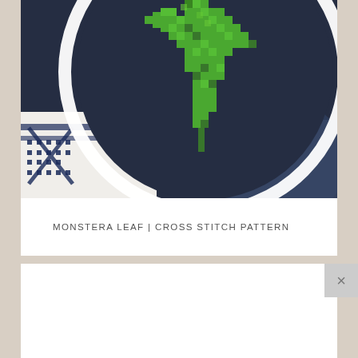[Figure (photo): Cross stitch embroidery hoop showing a monstera leaf design in green thread on dark navy blue fabric, with a white hoop border. A white fabric with navy blue cross-stitch border pattern is visible in the lower left corner. Dark blue fabric is folded in the background.]
MONSTERA LEAF | CROSS STITCH PATTERN
[Figure (screenshot): White/blank lower card area with an X close button in the upper right corner]